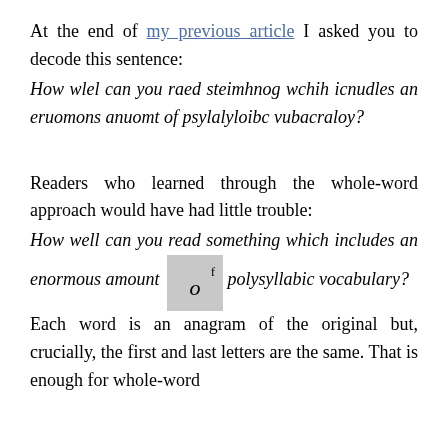At the end of my previous article I asked you to decode this sentence:
How wlel can you raed steimhnog wchih icnudles an eruomons anuomt of psylalyloibc vubacraloy?
Readers who learned through the whole-word approach would have had little trouble:
How well can you read something which includes an enormous amount of polysyllabic vocabulary?
Each word is an anagram of the original but, crucially, the first and last letters are the same. That is enough for whole-word